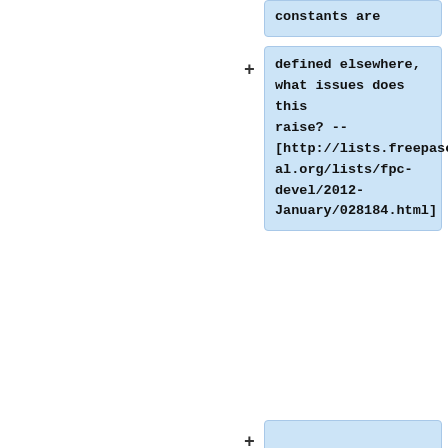constants are
defined elsewhere, what issues does this raise? -- [http://lists.freepascal.org/lists/fpc-devel/2012-January/028184.html]
('''Note from Paul Robinson:''' Some machines would give you the ability to write code in which a constant was part of the instruction and could be accessed directly. This requires you set up a base-displacement